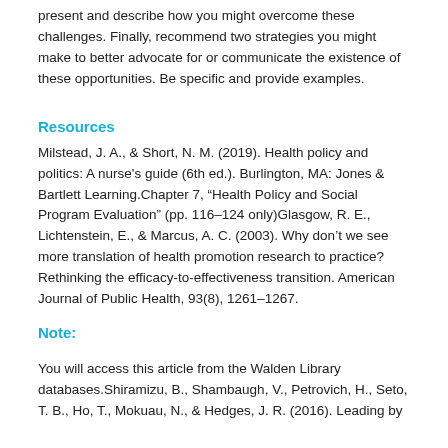present and describe how you might overcome these challenges. Finally, recommend two strategies you might make to better advocate for or communicate the existence of these opportunities. Be specific and provide examples.
Resources
Milstead, J. A., & Short, N. M. (2019). Health policy and politics: A nurse's guide (6th ed.). Burlington, MA: Jones & Bartlett Learning.Chapter 7, “Health Policy and Social Program Evaluation” (pp. 116–124 only)Glasgow, R. E., Lichtenstein, E., & Marcus, A. C. (2003). Why don’t we see more translation of health promotion research to practice? Rethinking the efficacy-to-effectiveness transition. American Journal of Public Health, 93(8), 1261–1267.
Note:
You will access this article from the Walden Library databases.Shiramizu, B., Shambaugh, V., Petrovich, H., Seto, T. B., Ho, T., Mokuau, N., & Hedges, J. R. (2016). Leading by